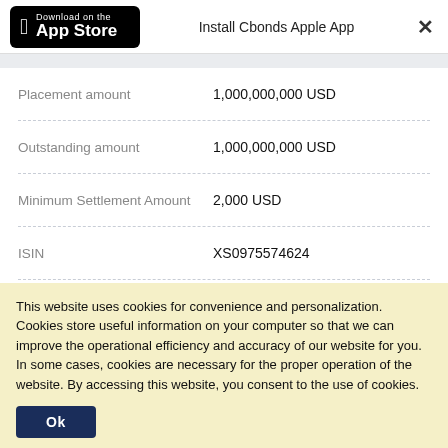Install Cbonds Apple App
| Label | Value |
| --- | --- |
| Placement amount | 1,000,000,000 USD |
| Outstanding amount | 1,000,000,000 USD |
| Minimum Settlement Amount | 2,000 USD |
| ISIN | XS0975574624 |
| Common Code | 097557462 |
| CFI | DTFXFB |
This website uses cookies for convenience and personalization. Cookies store useful information on your computer so that we can improve the operational efficiency and accuracy of our website for you. In some cases, cookies are necessary for the proper operation of the website. By accessing this website, you consent to the use of cookies.